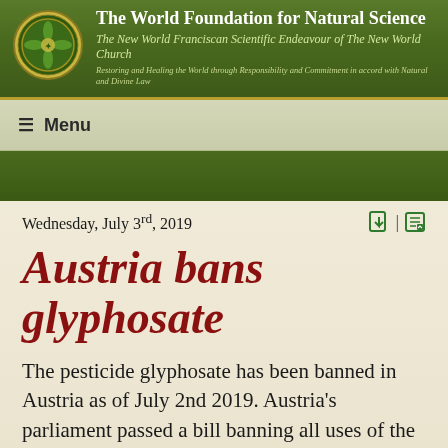The World Foundation for Natural Science
The New World Franciscan Scientific Endeavour of The New World Church
Restoring and Healing the World through Responsibility and Commitment in accord with Natural and Divine Law
≡ Menu
Wednesday, July 3rd, 2019
Austria bans glyphosate
The pesticide glyphosate has been banned in Austria as of July 2nd 2019. Austria's parliament passed a bill banning all uses of the weedkiller. In 2015, glyphosate, most recognised as part of Monsanto's weedkiller RoundUp, but also found in many different